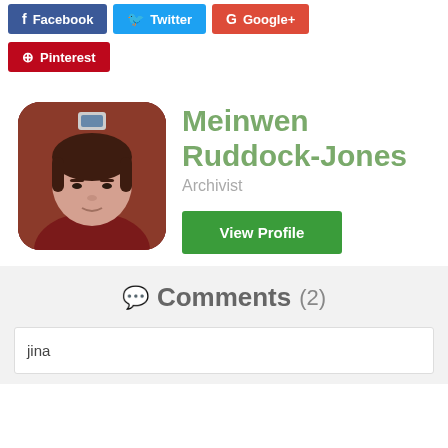[Figure (infographic): Social media share buttons row: Facebook (blue), Twitter (light blue), Google+ (red), Pinterest (red)]
[Figure (photo): Profile photo of Meinwen Ruddock-Jones, a woman with dark hair wearing a dark red top, rounded square crop]
Meinwen Ruddock-Jones
Archivist
View Profile
Comments (2)
jina